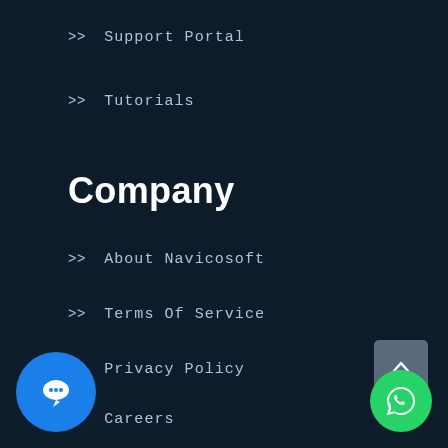>> Support Portal
>> Tutorials
Company
>> About Navicosoft
>> Terms Of Service
>> Privacy Policy
>> Careers
>> Blog
>> Articles
[Figure (illustration): Scroll-to-top button with upward chevron arrow, grey background, rounded corners]
[Figure (illustration): WhatsApp floating action button, green circle with WhatsApp logo]
[Figure (illustration): Live chat floating action button, blue circle with chat bubble icon]